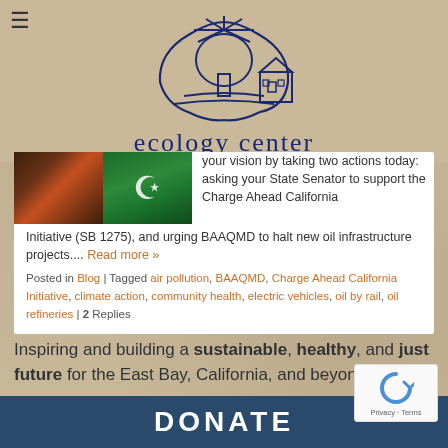[Figure (logo): Ecology Center logo — line drawing of a tree with a city skyline and radiating sun lines, in dark blue ink]
ecology center
[Figure (photo): Two side-by-side photos: left shows a dark nighttime scene with warm orange light, right shows a green Pakistani flag with white crescent and star]
your vision by taking two actions today: asking your State Senator to support the Charge Ahead California Initiative (SB 1275), and urging BAAQMD to halt new oil infrastructure projects....
Read more »
Posted in Blog | Tagged air pollution, BAAQMD, Charge Ahead California Initiative, climate action, community health, electric vehicles, oil by rail, oil refineries | 2 Replies
Inspiring and building a sustainable, healthy, and just future for the East Bay, California, and beyond.
DONATE